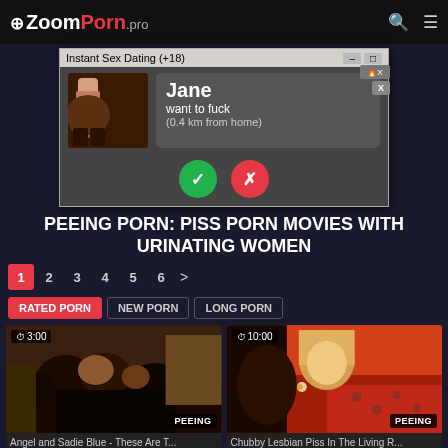ZoomPorn.pro
[Figure (screenshot): Ad popup: Instant Sex Dating (+18) with Jane want to fuck (0.4 km from home), yes/no buttons]
PEEING PORN: PISS PORN MOVIES WITH URINATING WOMEN
1 2 3 4 5 6 >
RATED PORN  NEW PORN  LONG PORN
[Figure (screenshot): Video thumbnail: outdoor group scene, duration 3:00, badge: PEEING]
Angel and Sadie Blue - These Are T...
[Figure (screenshot): Video thumbnail: women intimate scene, duration 10:00, badge: PEEING]
Chubby Lesbian Piss In The Living R...